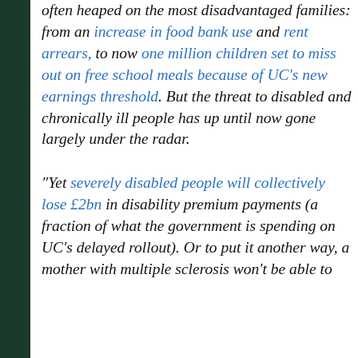often heaped on the most disadvantaged families: from an increase in food bank use and rent arrears, to now one million children set to miss out on free school meals because of UC's new earnings threshold. But the threat to disabled and chronically ill people has up until now gone largely under the radar.
“Yet severely disabled people will collectively lose £2bn in disability premium payments (a fraction of what the government is spending on UC’s delayed rollout). Or to put it another way, a mother with multiple sclerosis won’t be able to